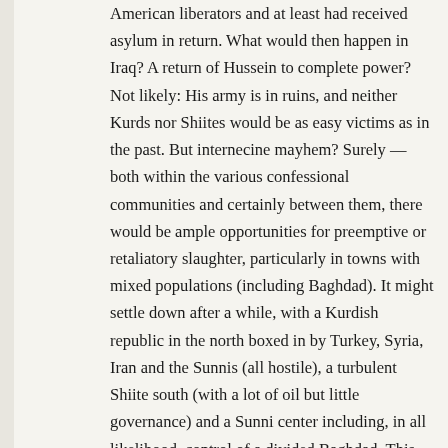American liberators and at least had received asylum in return. What would then happen in Iraq? A return of Hussein to complete power? Not likely: His army is in ruins, and neither Kurds nor Shiites would be as easy victims as in the past. But internecine mayhem? Surely — both within the various confessional communities and certainly between them, there would be ample opportunities for preemptive or retaliatory slaughter, particularly in towns with mixed populations (including Baghdad). It might settle down after a while, with a Kurdish republic in the north boxed in by Turkey, Syria, Iran and the Sunnis (all hostile), a turbulent Shiite south (with a lot of oil but little governance) and a Sunni center including, in all likelihood, control of a divided Baghdad. This would be the playground for all kinds of foreign parties — Iran, Saudi Arabia, Syria and Islamist fanatics of all stripes. If the United States did not like Afghanistan as a